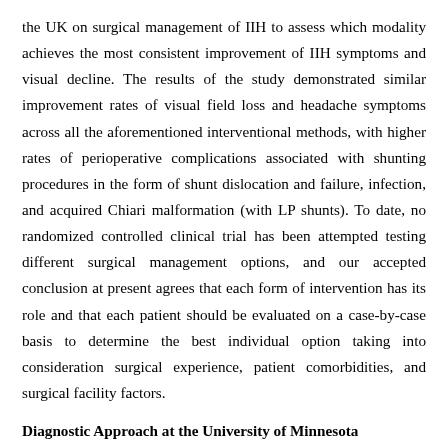the UK on surgical management of IIH to assess which modality achieves the most consistent improvement of IIH symptoms and visual decline. The results of the study demonstrated similar improvement rates of visual field loss and headache symptoms across all the aforementioned interventional methods, with higher rates of perioperative complications associated with shunting procedures in the form of shunt dislocation and failure, infection, and acquired Chiari malformation (with LP shunts). To date, no randomized controlled clinical trial has been attempted testing different surgical management options, and our accepted conclusion at present agrees that each form of intervention has its role and that each patient should be evaluated on a case-by-case basis to determine the best individual option taking into consideration surgical experience, patient comorbidities, and surgical facility factors.
Diagnostic Approach at the University of Minnesota
Differentiating between papilledema and pseudopapilledema may be challenging in a pediatric patient population. We do not follow a strict diagnostic algorithm when evaluating children with possible papilledema at our institution although general work-up guidelines are outlined in [Table - 1]. At our academic center, and at other centers, the problem of registering the greatest of pediatric